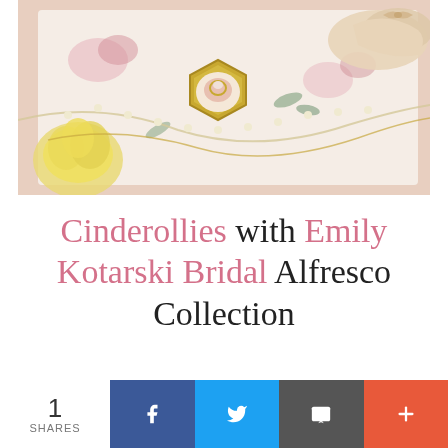[Figure (photo): Flat lay of bridal accessories: a hexagonal gold ring box with a flower ring, pearl and gold chain necklaces, a cream floral fabric, a yellow carnation flower, and beige ballet flat shoes on a pink background.]
Cinderollies with Emily Kotarski Bridal Alfresco Collection
[Figure (photo): Partially visible photo at the bottom of the page, appears to show bridal or fashion items.]
1 SHARES | Facebook share | Twitter share | Email share | More